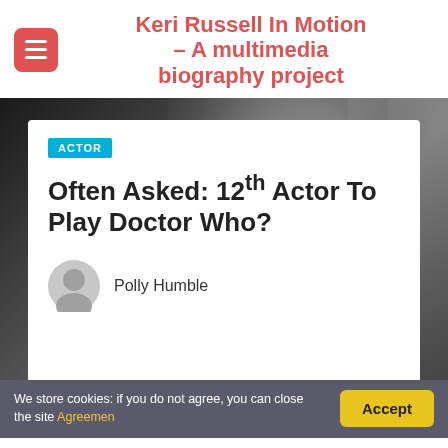Keri Russell In Motion – A multimedia biography project
ACTOR
Often Asked: 12th Actor To Play Doctor Who?
Polly Humble
We store cookies: if you do not agree, you can close the site Agreemen
Accept